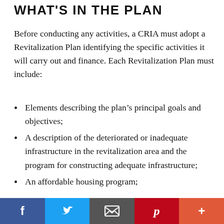WHAT'S IN THE PLAN
Before conducting any activities, a CRIA must adopt a Revitalization Plan identifying the specific activities it will carry out and finance. Each Revitalization Plan must include:
Elements describing the plan's principal goals and objectives;
A description of the deteriorated or inadequate infrastructure in the revitalization area and the program for constructing adequate infrastructure;
An affordable housing program;
Social share bar: Facebook, Twitter, Email, Pinterest, More